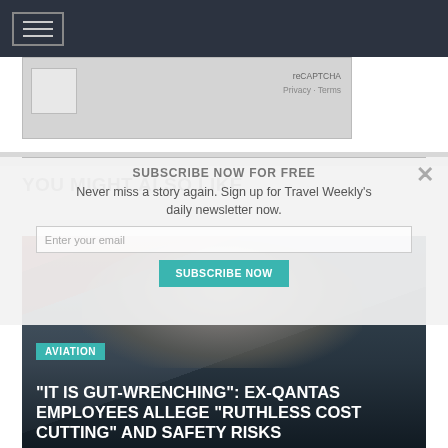[Figure (screenshot): Dark navigation bar with hamburger menu icon]
[Figure (screenshot): reCAPTCHA widget area showing checkbox and reCAPTCHA branding with Privacy and Terms links]
YOU MIGHT ALSO LIKE
SUBSCRIBE NOW FOR FREE
Never miss a story again. Sign up for Travel Weekly's daily newsletter now.
[Figure (screenshot): Email subscription form with 'Enter your email' input and 'SUBSCRIBE NOW' button]
[Figure (photo): Photo of a man in a dark suit with glasses, appearing to be a Qantas executive, with a red Qantas logo partially visible in background]
AVIATION
“IT IS GUT-WRENCHING”: EX-QANTAS EMPLOYEES ALLEGE “RUTHLESS COST CUTTING” AND SAFETY RISKS